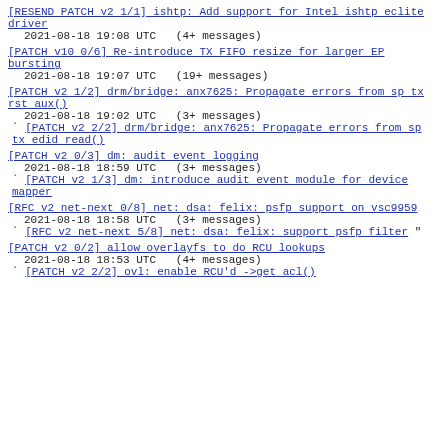[RESEND PATCH v2 1/1] ishtp: Add support for Intel ishtp eclite driver
 2021-08-18 19:08 UTC  (4+ messages)
[PATCH v10 0/6] Re-introduce TX FIFO resize for larger EP bursting
 2021-08-18 19:07 UTC  (19+ messages)
[PATCH v2 1/2] drm/bridge: anx7625: Propagate errors from sp tx rst aux()
 2021-08-18 19:02 UTC  (3+ messages)
` [PATCH v2 2/2] drm/bridge: anx7625: Propagate errors from sp tx edid read()
[PATCH v2 0/3] dm: audit event logging
 2021-08-18 18:59 UTC  (3+ messages)
` [PATCH v2 1/3] dm: introduce audit event module for device mapper
[RFC v2 net-next 0/8] net: dsa: felix: psfp support on vsc9959
 2021-08-18 18:58 UTC  (3+ messages)
` [RFC v2 net-next 5/8] net: dsa: felix: support psfp filter "
[PATCH v2 0/2] allow overlayfs to do RCU lookups
 2021-08-18 18:53 UTC  (4+ messages)
` [PATCH v2 2/2] ovl: enable RCU'd ->get acl()